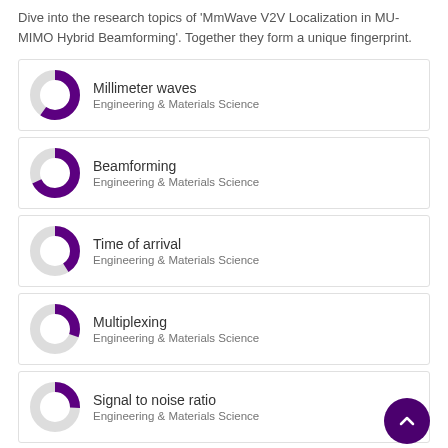Dive into the research topics of 'MmWave V2V Localization in MU-MIMO Hybrid Beamforming'. Together they form a unique fingerprint.
Millimeter waves — Engineering & Materials Science
Beamforming — Engineering & Materials Science
Time of arrival — Engineering & Materials Science
Multiplexing — Engineering & Materials Science
Signal to noise ratio — Engineering & Materials Science